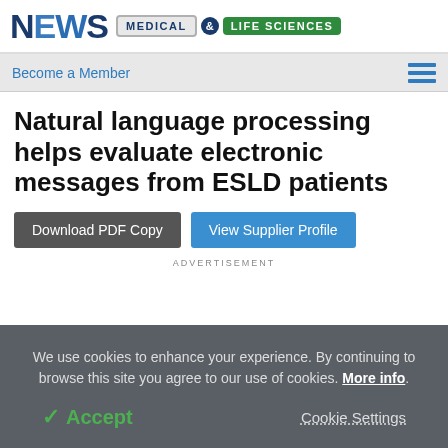NEWS MEDICAL & LIFE SCIENCES
Become a Member
Natural language processing helps evaluate electronic messages from ESLD patients
Download PDF Copy
View Supplier Profile
ADVERTISEMENT
We use cookies to enhance your experience. By continuing to browse this site you agree to our use of cookies. More info.
Accept
Cookie Settings